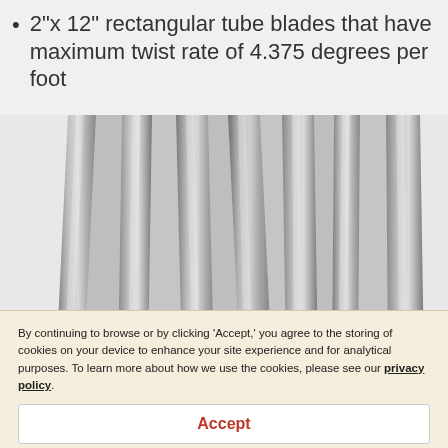2"x 12" rectangular tube blades that have maximum twist rate of 4.375 degrees per foot
[Figure (photo): Close-up photograph of seven twisted rectangular tube blades arranged side by side, showing their metallic silver/grey appearance and the gradual twist along their length. The blades are viewed from above, narrowing toward the bottom of the image.]
By continuing to browse or by clicking 'Accept,' you agree to the storing of cookies on your device to enhance your site experience and for analytical purposes. To learn more about how we use the cookies, please see our privacy policy.
Accept